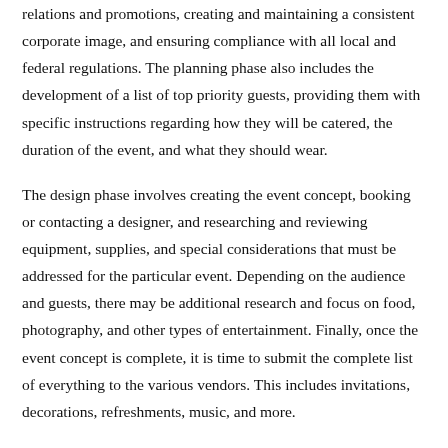relations and promotions, creating and maintaining a consistent corporate image, and ensuring compliance with all local and federal regulations. The planning phase also includes the development of a list of top priority guests, providing them with specific instructions regarding how they will be catered, the duration of the event, and what they should wear.
The design phase involves creating the event concept, booking or contacting a designer, and researching and reviewing equipment, supplies, and special considerations that must be addressed for the particular event. Depending on the audience and guests, there may be additional research and focus on food, photography, and other types of entertainment. Finally, once the event concept is complete, it is time to submit the complete list of everything to the various vendors. This includes invitations, decorations, refreshments, music, and more.
The coordinating phase includes communicating with vendors and